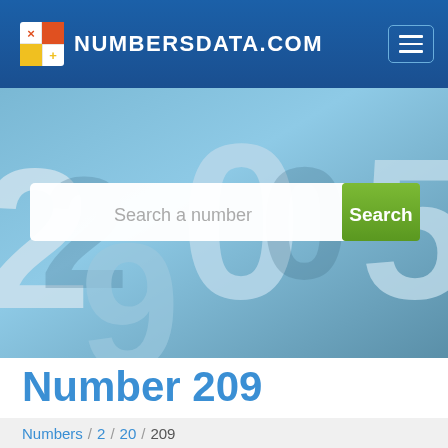[Figure (screenshot): NUMBERSDATA.COM website header with logo, navigation hamburger menu, hero image background of 3D numbers, and search bar with 'Search a number' placeholder and green Search button]
Number 209
Numbers / 2 / 20 / 209